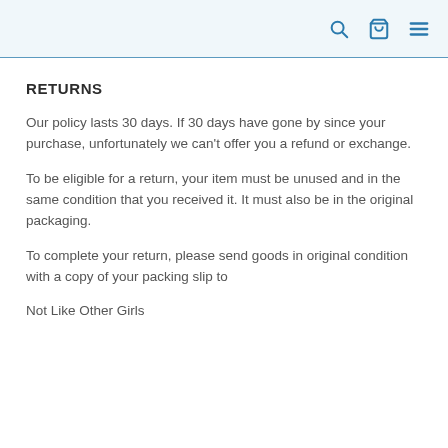[search icon] [bag icon] [menu icon]
RETURNS
Our policy lasts 30 days. If 30 days have gone by since your purchase, unfortunately we can't offer you a refund or exchange.
To be eligible for a return, your item must be unused and in the same condition that you received it. It must also be in the original packaging.
To complete your return, please send goods in original condition with a copy of your packing slip to
Not Like Other Girls